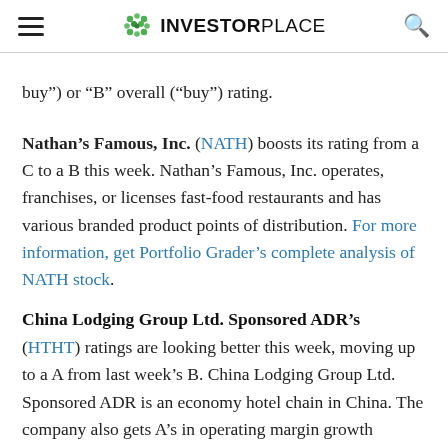INVESTORPLACE
buy") or “B” overall (“buy”) rating.
Nathan’s Famous, Inc.
(NATH) boosts its rating from a C to a B this week. Nathan’s Famous, Inc. operates, franchises, or licenses fast-food restaurants and has various branded product points of distribution. For more information, get Portfolio Grader’s complete analysis of NATH stock.
China Lodging Group Ltd. Sponsored ADR’s
(HTHT) ratings are looking better this week, moving up to a A from last week’s B. China Lodging Group Ltd. Sponsored ADR is an economy hotel chain in China. The company also gets A’s in operating margin growth